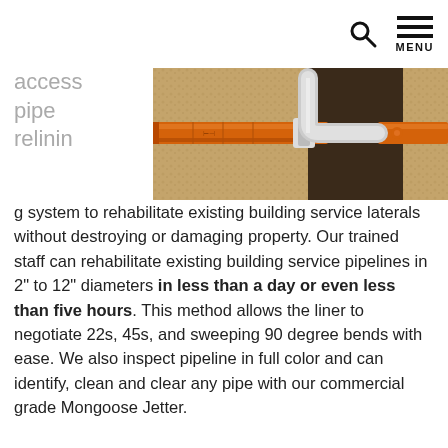MENU
[Figure (photo): 3D rendering of an orange pipe relining system being inserted through a soil cross-section, showing the pipe passing through a junction block with a curved elbow connector underground.]
access pipe relining system to rehabilitate existing building service laterals without destroying or damaging property. Our trained staff can rehabilitate existing building service pipelines in 2" to 12" diameters in less than a day or even less than five hours. This method allows the liner to negotiate 22s, 45s, and sweeping 90 degree bends with ease. We also inspect pipeline in full color and can identify, clean and clear any pipe with our commercial grade Mongoose Jetter.